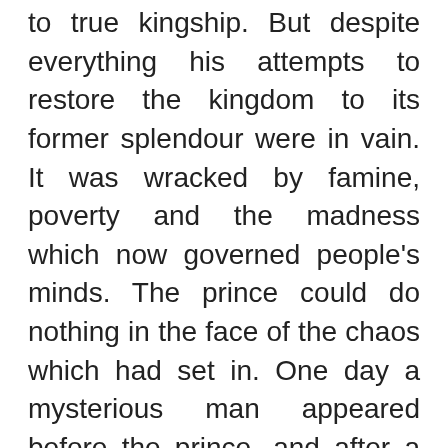to true kingship. But despite everything his attempts to restore the kingdom to its former splendour were in vain. It was wracked by famine, poverty and the madness which now governed people's minds. The prince could do nothing in the face of the chaos which had set in. One day a mysterious man appeared before the prince, and after a private audience a pact was soon established. After this meeting, Lejacke abandoned the throne. The chaos and disorder, as well as the mysterious individual and the prince, all disappeared into nothingness. Over the years the monarchy fell apart and the kingdom became a village governed by pure fate. One day that secret pact was broken, setting off a chain of events which revolutionised people's destinies.